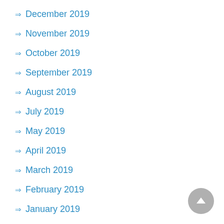December 2019
November 2019
October 2019
September 2019
August 2019
July 2019
May 2019
April 2019
March 2019
February 2019
January 2019
December 2018
November 2018